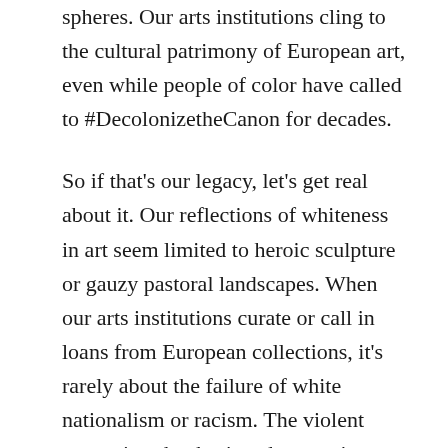spheres. Our arts institutions cling to the cultural patrimony of European art, even while people of color have called to #DecolonizetheCanon for decades.
So if that's our legacy, let's get real about it. Our reflections of whiteness in art seem limited to heroic sculpture or gauzy pastoral landscapes. When our arts institutions curate or call in loans from European collections, it's rarely about the failure of white nationalism or racism. The violent extremists that besieged our entire legislature took inspiration from the fascist movements of the last century – their appalling insignia, merch, and slogans make that clear. When arts institutions fail to wrestle with that legacy, it creates a predictable failure of